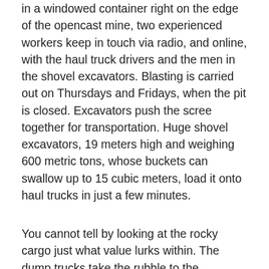in a windowed container right on the edge of the opencast mine, two experienced workers keep in touch via radio, and online, with the haul truck drivers and the men in the shovel excavators. Blasting is carried out on Thursdays and Fridays, when the pit is closed. Excavators push the scree together for transportation. Huge shovel excavators, 19 meters high and weighing 600 metric tons, whose buckets can swallow up to 15 cubic meters, load it onto haul trucks in just a few minutes.
You cannot tell by looking at the rocky cargo just what value lurks within. The dump trucks take the rubble to the treatment plant, where it is dumped into shafts, producing levels of noise nothing short of deafening. The debris is then crushed in huge, rotating drums, and washed in basins. Separation systems detect the diamonds with the aid of X-rays and shoot them out of the rock with compressed air. The final stage has workers picking the diamonds out of the fine rubble by hand.